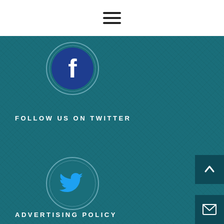[Figure (illustration): Hamburger menu icon (three horizontal black lines) centered in white header bar]
[Figure (logo): Facebook logo icon: dark blue circle with white 'f' letter, surrounded by light teal circular ring outline, on teal textured background]
FOLLOW US ON TWITTER
[Figure (logo): Twitter bird logo icon: cyan blue bird silhouette inside a teal circle with light circular ring outline, on teal textured background]
ADVERTISING POLICY
[Figure (illustration): Up arrow icon in dark teal square button, bottom-right corner]
[Figure (illustration): Envelope/mail icon in dark teal square button, bottom-right corner]